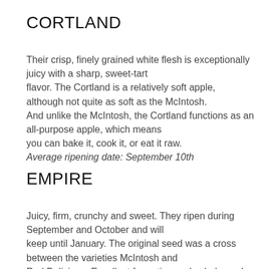CORTLAND
Their crisp, finely grained white flesh is exceptionally juicy with a sharp, sweet-tart flavor. The Cortland is a relatively soft apple, although not quite as soft as the McIntosh. And unlike the McIntosh, the Cortland functions as an all-purpose apple, which means you can bake it, cook it, or eat it raw. Average ripening date: September 10th
EMPIRE
Juicy, firm, crunchy and sweet. They ripen during September and October and will keep until January. The original seed was a cross between the varieties McIntosh and Red Delicious. Excellent for eating and salads, and good for